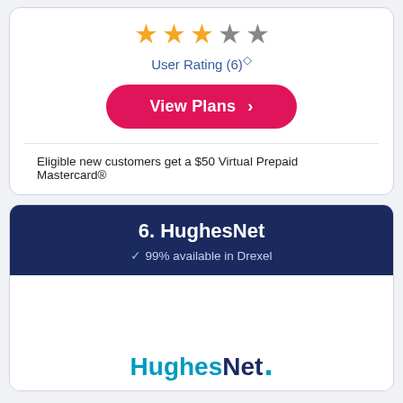[Figure (other): Star rating display showing 3 filled orange stars and 2 empty grey stars]
User Rating (6)◇
View Plans ›
Eligible new customers get a $50 Virtual Prepaid Mastercard®
6. HughesNet
✓ 99% available in Drexel
[Figure (logo): HughesNet logo in blue and dark navy text]